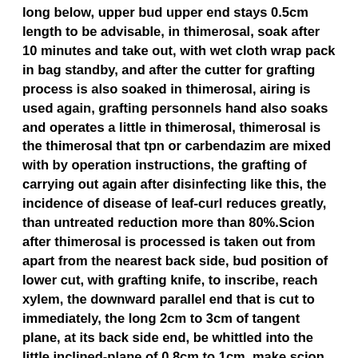long below, upper bud upper end stays 0.5cm length to be advisable, in thimerosal, soak after 10 minutes and take out, with wet cloth wrap pack in bag standby, and after the cutter for grafting process is also soaked in thimerosal, airing is used again, grafting personnels hand also soaks and operates a little in thimerosal, thimerosal is the thimerosal that tpn or carbendazim are mixed with by operation instructions, the grafting of carrying out again after disinfecting like this, the incidence of disease of leaf-curl reduces greatly, than untreated reduction more than 80%.Scion after thimerosal is processed is taken out from apart from the nearest back side, bud position of lower cut, with grafting knife, to inscribe, reach xylem, the downward parallel end that is cut to immediately, the long 2cm to 3cm of tangent plane, at its back side end, be whittled into the little inclined-plane of 0.8cm to 1cm, make scion bottom form a flat lozenges, the graft survival rate of the grafting nursery stock operating according to the inventive method is 90% to 95%, because the present invention is multilayer, color leaf is viewed and admired moulding bonsai tree, after grafting, as long as every layer has a scion to survive and is grafting success, then